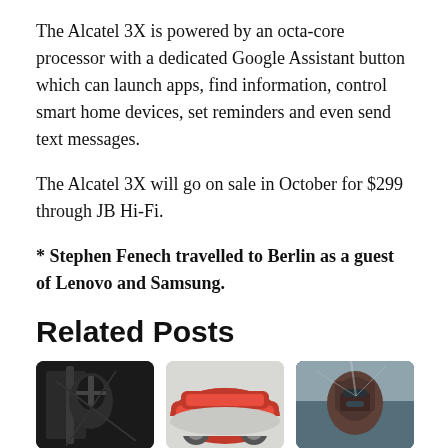The Alcatel 3X is powered by an octa-core processor with a dedicated Google Assistant button which can launch apps, find information, control smart home devices, set reminders and even send text messages.
The Alcatel 3X will go on sale in October for $299 through JB Hi-Fi.
* Stephen Fenech travelled to Berlin as a guest of Lenovo and Samsung.
Related Posts
[Figure (photo): Dark scene with a warrior-like figure holding weapons]
The Best Movies You've Never
[Figure (photo): Red Tesla electric car on a light background]
Stamp duty will be waived for
[Figure (photo): Top Gun: Maverick pilot in cockpit with goggles and mask]
Top Gun: Maverick blasts